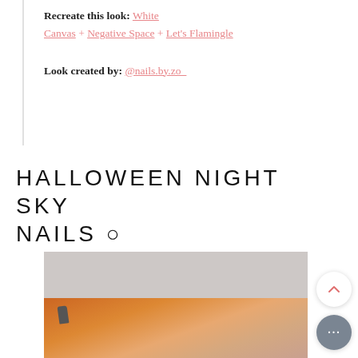Recreate this look: White Canvas + Negative Space + Let's Flamingle
Look created by: @nails.by.zo_
HALLOWEEN NIGHT SKY NAILS ○
[Figure (photo): Photo of nail art featuring pink nails with Hello Kitty and mushroom designs against an orange pumpkin background]